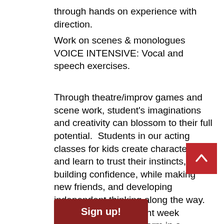through hands on experience with direction.
Work on scenes & monologues
VOICE INTENSIVE: Vocal and speech exercises.
Through theatre/improv games and scene work, student's imaginations and creativity can blossom to their full potential.  Students in our acting classes for kids create characters and learn to trust their instincts, building confidence, while making new friends, and developing independent thinking along the way. At the end of each eight week session, students perform in a showcase.
[Figure (other): Red square button with a white upward-pointing chevron arrow, used as a scroll-to-top button]
[Figure (other): Dark red Sign up! button at the bottom of the page]